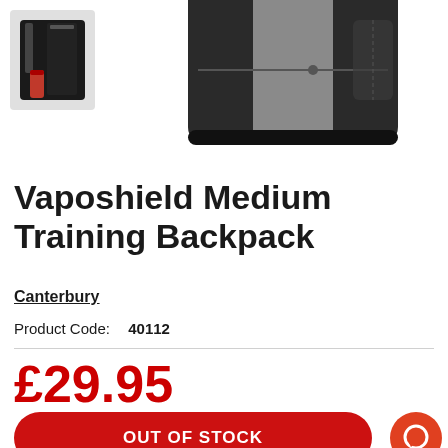[Figure (photo): Product images of a Canterbury Vaposhield Medium Training Backpack. Thumbnail on left shows backpack with water bottle pocket. Main image shows back of black and grey backpack.]
Vaposhield Medium Training Backpack
Canterbury
Product Code:  40112
£29.95
OUT OF STOCK